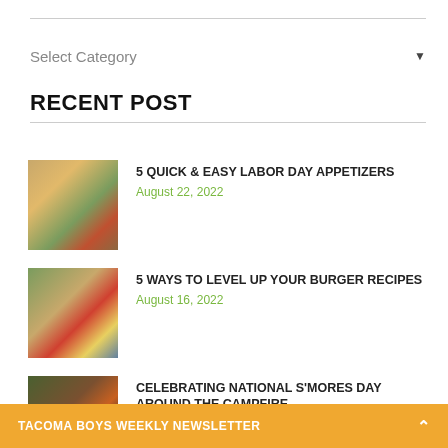Select Category
RECENT POST
5 QUICK & EASY LABOR DAY APPETIZERS
August 22, 2022
5 WAYS TO LEVEL UP YOUR BURGER RECIPES
August 16, 2022
CELEBRATING NATIONAL S'MORES DAY AROUND THE CAMPFIRE
August 8, 2022
TACOMA BOYS WEEKLY NEWSLETTER